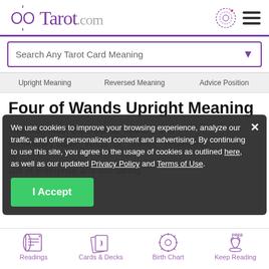Tarot.com
Search Any Tarot Card Meaning
Upright Meaning   Reversed Meaning   Advice Position
Four of Wands Upright Meaning
This suit, most often called "Wands" and sometimes called "Rods" or "Staves," represents in... the suit of enterprise and risk-taking.
We use cookies to improve your browsing experience, analyze our traffic, and offer personalized content and advertising. By continuing to use this site, you agree to the usage of cookies as outlined here, as well as our updated Privacy Policy and Terms of Use. I Accept
A ... suit is the teamwork card, often symbolized by two couples who have come
Readings   Cards & Decks   Birth Chart   Keep Reading